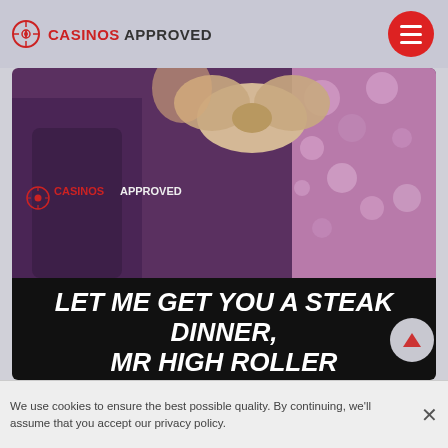CASINOS APPROVED
[Figure (screenshot): Hero image showing a woman in purple dress with floral headpiece and a large bow, overlaid with CASINOS APPROVED logo]
LET ME GET YOU A STEAK DINNER, MR HIGH ROLLER
For those who don't know what a comp is, we will explain this meme to anyone willing to laugh at the depicted situation. A man asks whether one is willing to play on $100 for two hours, at the same time, receiving complimentary items from
We use cookies to ensure the best possible quality. By continuing, we'll assume that you accept our privacy policy.